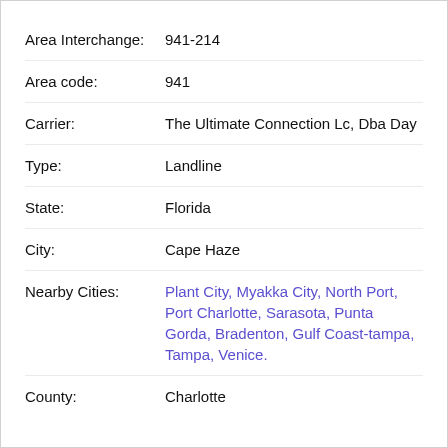Area Interchange: 941-214
Area code: 941
Carrier: The Ultimate Connection Lc, Dba Day
Type: Landline
State: Florida
City: Cape Haze
Nearby Cities: Plant City, Myakka City, North Port, Port Charlotte, Sarasota, Punta Gorda, Bradenton, Gulf Coast-tampa, Tampa, Venice.
County: Charlotte